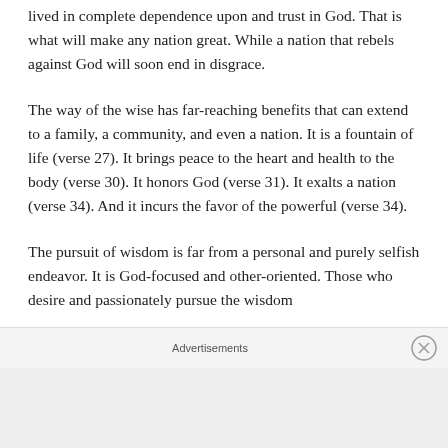lived in complete dependence upon and trust in God. That is what will make any nation great. While a nation that rebels against God will soon end in disgrace.
The way of the wise has far-reaching benefits that can extend to a family, a community, and even a nation. It is a fountain of life (verse 27). It brings peace to the heart and health to the body (verse 30). It honors God (verse 31). It exalts a nation (verse 34). And it incurs the favor of the powerful (verse 34).
The pursuit of wisdom is far from a personal and purely selfish endeavor. It is God-focused and other-oriented. Those who desire and passionately pursue the wisdom
Advertisements